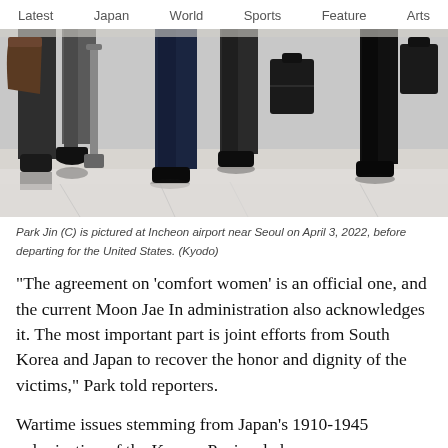Latest   Japan   World   Sports   Feature   Arts
[Figure (photo): Photo showing legs and feet of people walking through an airport terminal with luggage and briefcases, shiny reflective tiled floor visible.]
Park Jin (C) is pictured at Incheon airport near Seoul on April 3, 2022, before departing for the United States. (Kyodo)
"The agreement on 'comfort women' is an official one, and the current Moon Jae In administration also acknowledges it. The most important part is joint efforts from South Korea and Japan to recover the honor and dignity of the victims," Park told reporters.
Wartime issues stemming from Japan's 1910-1945 colonization of the Korean Peninsula have